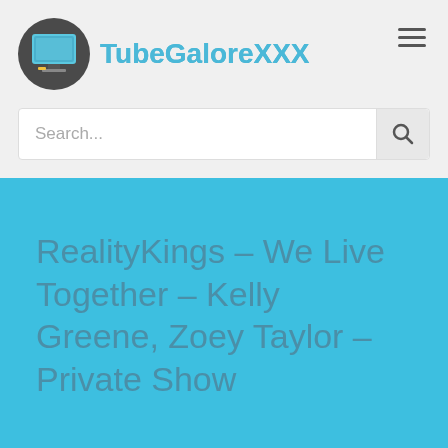[Figure (logo): TubeGaloreXXX logo with monitor icon and text]
Search...
RealityKings – We Live Together – Kelly Greene, Zoey Taylor – Private Show